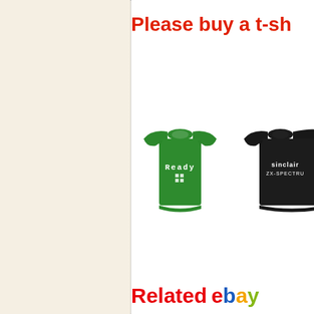Please buy a t-sh
[Figure (photo): Green t-shirt with white pixel-style text 'Ready' and a small graphic below it]
[Figure (photo): Black t-shirt with white text 'sinclair ZX-SPECTRU' (partially cropped)]
Related ebay